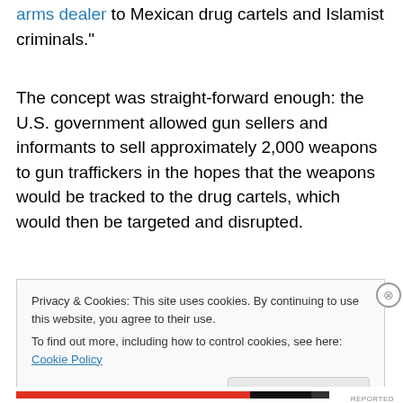arms dealer to Mexican drug cartels and Islamist criminals."
The concept was straight-forward enough: the U.S. government allowed gun sellers and informants to sell approximately 2,000 weapons to gun traffickers in the hopes that the weapons would be tracked to the drug cartels, which would then be targeted and disrupted.
Privacy & Cookies: This site uses cookies. By continuing to use this website, you agree to their use.
To find out more, including how to control cookies, see here: Cookie Policy